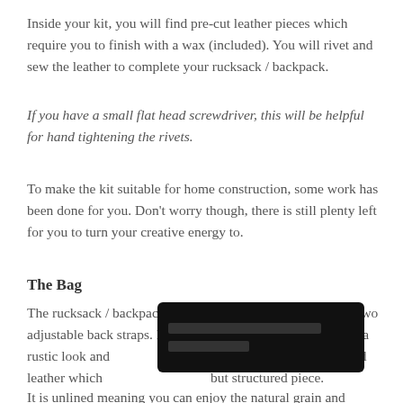Inside your kit, you will find pre-cut leather pieces which require you to finish with a wax (included). You will rivet and sew the leather to complete your rucksack / backpack.
If you have a small flat head screwdriver, this will be helpful for hand tightening the rivets.
To make the kit suitable for home construction, some work has been done for you. Don’t worry though, there is still plenty left for you to turn your creative energy to.
The Bag
The rucksack / backpack has a flap and buckle closure and two adjustable back straps. It is a  raw edge construction to give a rustic look and [redacted] ttery soft vegetable-tanned leather which [redacted] but structured piece.
It is unlined meaning you can enjoy the natural grain and